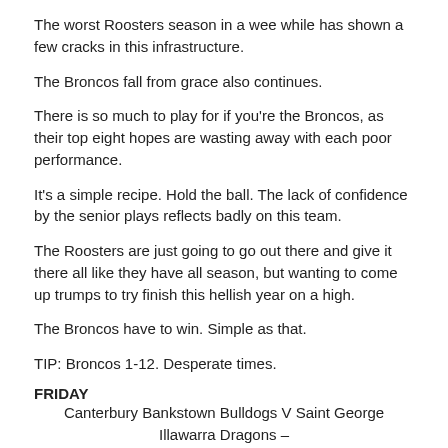The worst Roosters season in a wee while has shown a few cracks in this infrastructure.
The Broncos fall from grace also continues.
There is so much to play for if you're the Broncos, as their top eight hopes are wasting away with each poor performance.
It's a simple recipe. Hold the ball. The lack of confidence by the senior plays reflects badly on this team.
The Roosters are just going to go out there and give it there all like they have all season, but wanting to come up trumps to try finish this hellish year on a high.
The Broncos have to win. Simple as that.
TIP: Broncos 1-12. Desperate times.
FRIDAY
Canterbury Bankstown Bulldogs V Saint George Illawarra Dragons – ANZ Stadium 21.50NZT